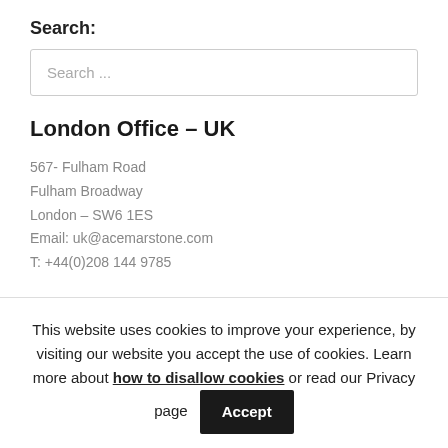Search:
Search ...
London Office – UK
567- Fulham Road
Fulham Broadway
London – SW6 1ES
Email: uk@acemarstone.com
T: +44(0)208 144 9785
This website uses cookies to improve your experience, by visiting our website you accept the use of cookies. Learn more about how to disallow cookies or read our Privacy page